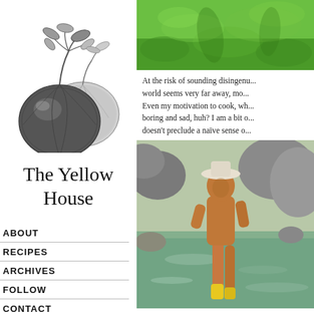[Figure (illustration): Black and white pencil illustration of two tomatoes with stems and leaves]
The Yellow House
ABOUT
RECIPES
ARCHIVES
FOLLOW
CONTACT
[Figure (photo): Outdoor photo showing green grass and trees from above]
At the risk of sounding disingenu... world seems very far away, mo... Even my motivation to cook, wh... boring and sad, huh? I am a bit o... doesn't preclude a naïve sense o...
[Figure (photo): Photo of a person wading in a rocky creek or stream with clear green water]